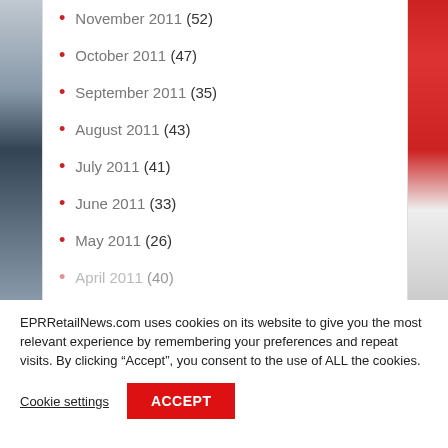November 2011 (52)
October 2011 (47)
September 2011 (35)
August 2011 (43)
July 2011 (41)
June 2011 (33)
May 2011 (26)
April 2011 (40)
EPRRetailNews.com uses cookies on its website to give you the most relevant experience by remembering your preferences and repeat visits. By clicking “Accept”, you consent to the use of ALL the cookies.
Cookie settings | ACCEPT